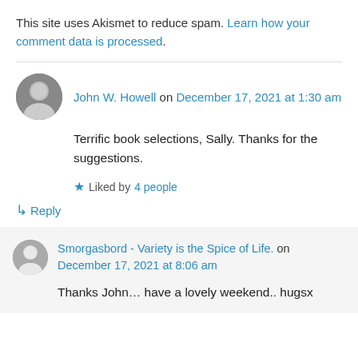This site uses Akismet to reduce spam. Learn how your comment data is processed.
John W. Howell on December 17, 2021 at 1:30 am
Terrific book selections, Sally. Thanks for the suggestions.
★ Liked by 4 people
↳ Reply
Smorgasbord - Variety is the Spice of Life. on December 17, 2021 at 8:06 am
Thanks John… have a lovely weekend.. hugsx